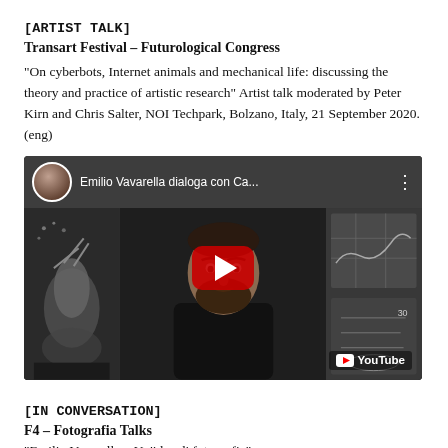[ARTIST TALK]
Transart Festival – Futurological Congress
"On cyberbots, Internet animals and mechanical life: discussing the theory and practice of artistic research" Artist talk moderated by Peter Kirn and Chris Salter, NOI Techpark, Bolzano, Italy, 21 September 2020. (eng)
[Figure (screenshot): YouTube video thumbnail showing Emilio Vavarella dialoga con Ca... with a person with beard in black shirt, surrounded by black and white artistic images, with a red play button overlay and YouTube logo watermark]
[IN CONVERSATION]
F4 – Fotografia Talks
"Emilio Vavarella – Un'idea di fotografia"